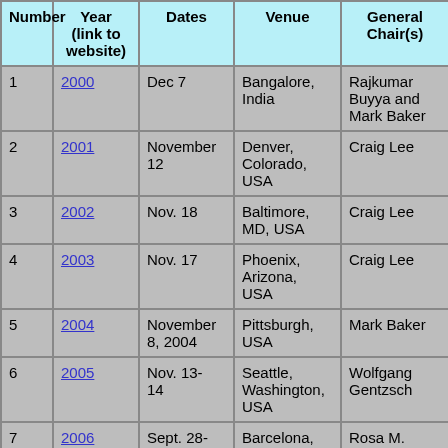| Number | Year (link to website) | Dates | Venue | General Chair(s) | Pro... Ch... |
| --- | --- | --- | --- | --- | --- |
| 1 | 2000 | Dec 7 | Bangalore, India | Rajkumar Buyya and Mark Baker | Rajkuma... |
| 2 | 2001 | November 12 | Denver, Colorado, USA | Craig Lee | Craig Le... |
| 3 | 2002 | Nov. 18 | Baltimore, MD, USA | Craig Lee | Manish... |
| 4 | 2003 | Nov. 17 | Phoenix, Arizona, USA | Craig Lee | Heinz S... |
| 5 | 2004 | November 8, 2004 | Pittsburgh, USA | Mark Baker | Rajkuma... |
| 6 | 2005 | Nov. 13-14 | Seattle, Washington, USA | Wolfgang Gentzsch | Daniel S... |
| 7 | 2006 | Sept. 28-29 | Barcelona, Spain | Rosa M. Badia and Andrew... | Dennis G... |